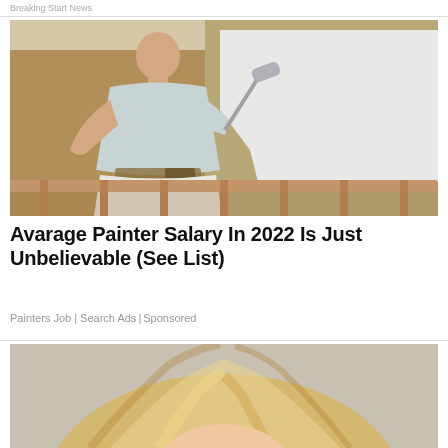Breaking Start News
[Figure (photo): A bald man in a light blue t-shirt and white pants painting a wall with a roller. The wall is partially painted white over a tan/brown background. Wooden railing visible in foreground.]
Avarage Painter Salary In 2022 Is Just Unbelievable (See List)
Painters Job | Search Ads | Sponsored
[Figure (photo): Partial view of a blonde woman, cropped at the top of the head showing hair only.]